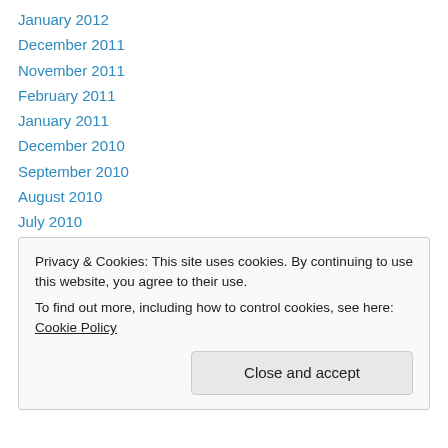January 2012
December 2011
November 2011
February 2011
January 2011
December 2010
September 2010
August 2010
July 2010
June 2010
May 2010
March 2010
February 2010
Privacy & Cookies: This site uses cookies. By continuing to use this website, you agree to their use. To find out more, including how to control cookies, see here: Cookie Policy
Close and accept